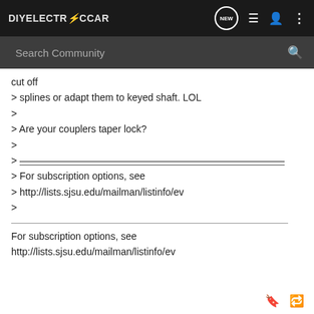DIYELECTRICCAR — Search Community nav bar
cut off
> splines or adapt them to keyed shaft. LOL
>
> Are your couplers taper lock?
>
> ___________________________________________
> For subscription options, see
> http://lists.sjsu.edu/mailman/listinfo/ev
>
For subscription options, see
http://lists.sjsu.edu/mailman/listinfo/ev